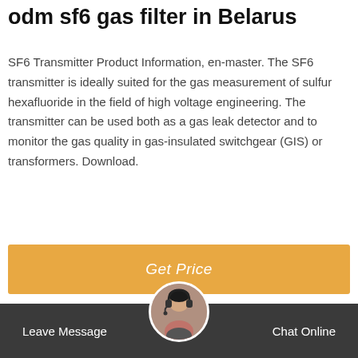odm sf6 gas filter in Belarus
SF6 Transmitter Product Information, en-master. The SF6 transmitter is ideally suited for the gas measurement of sulfur hexafluoride in the field of high voltage engineering. The transmitter can be used both as a gas leak detector and to monitor the gas quality in gas-insulated switchgear (GIS) or transformers. Download.
[Figure (other): Orange Get Price button]
Hot Product
[Figure (photo): RA912 SF6 Gas Analyzer device photo]
RA912 SF6 Gas Analyzer
For determining the quality of SF6 gas.
Leave Message   Chat Online